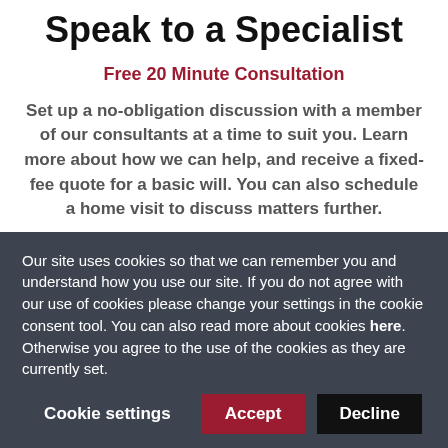Speak to a Specialist
Free 20 Minute Consultation
Set up a no-obligation discussion with a member of our consultants at a time to suit you. Learn more about how we can help, and receive a fixed-fee quote for a basic will. You can also schedule a home visit to discuss matters further.
Our site uses cookies so that we can remember you and understand how you use our site. If you do not agree with our use of cookies please change your settings in the cookie consent tool. You can also read more about cookies here. Otherwise you agree to the use of the cookies as they are currently set.
Cookie settings
Accept
Decline